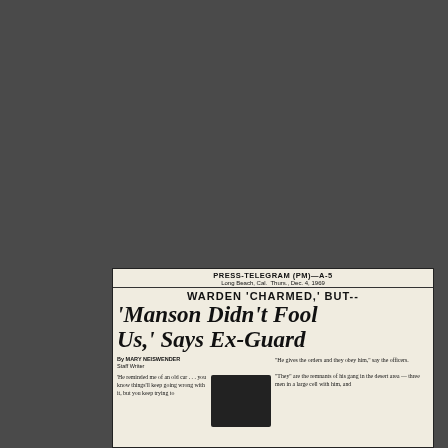PRESS-TELEGRAM (PM)—A-5
Long Beach, Cal. Thurs., Dec. 4, 1969
WARDEN 'CHARMED,' BUT--
'Manson Didn't Fool Us,' Says Ex-Guard
By MARY NEISWENDER
Staff Writer
'He reminded me of an old car . . . you know things'll keep going wrong with it, but you keep trying to...
[Figure (photo): Black and white photograph of a person]
"He gives the orders and they obey him," say the officers.
"They" are the remnants of his gang in the desert area — three men in a large cell with him, and...